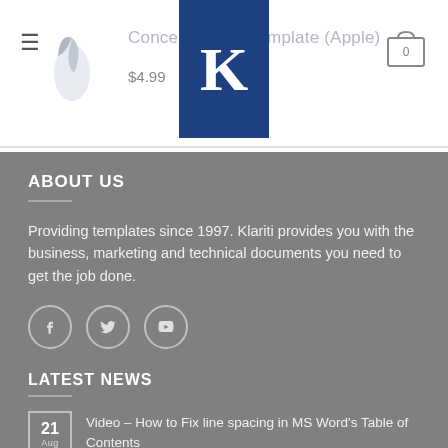Concept of Operations Template (Apple) $4.99
[Figure (logo): Klariti K logo on dark blue background, centered in header]
[Figure (other): Shopping cart icon with 0 badge]
ABOUT US
Providing templates since 1997. Klariti provides you with the business, marketing and technical documents you need to get the job done.
[Figure (other): Social media icons: Facebook, Twitter, YouTube in circular outlines]
LATEST NEWS
Video – How to Fix line spacing in MS Word's Table of Contents